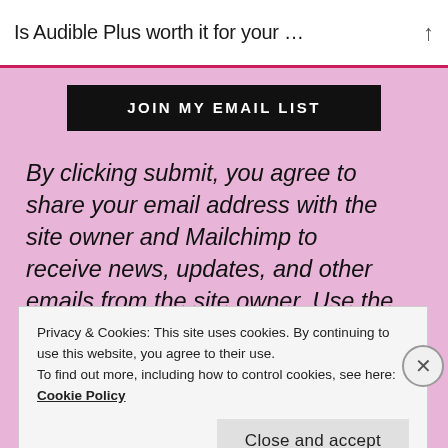Is Audible Plus worth it for your …
[Figure (screenshot): Black button with white uppercase text reading JOIN MY EMAIL LIST]
By clicking submit, you agree to share your email address with the site owner and Mailchimp to receive news, updates, and other emails from the site owner. Use the unsubscribe link in those emails to opt-out at any time.
Privacy & Cookies: This site uses cookies. By continuing to use this website, you agree to their use.
To find out more, including how to control cookies, see here: Cookie Policy
Close and accept